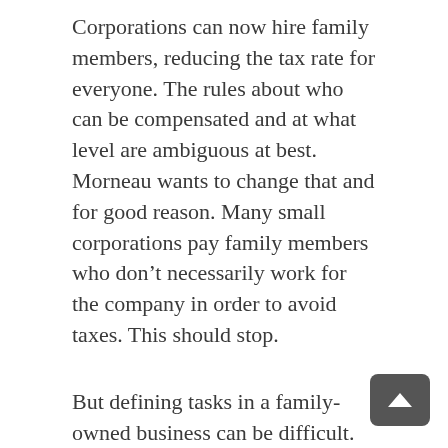Corporations can now hire family members, reducing the tax rate for everyone. The rules about who can be compensated and at what level are ambiguous at best. Morneau wants to change that and for good reason. Many small corporations pay family members who don't necessarily work for the company in order to avoid taxes. This should stop.
But defining tasks in a family-owned business can be difficult. Many of the contributions made by family members are ad hoc and can't easily be categorized. Recipes, tricks of the trade and family traditions all matter a great deal to small food outlets (it's difficult to imagine applying the same standard to accountants, doctors or dentists). A family business is like, well, a family. At a family-owed farm, restaurant or small food processor, job profiles are vague at best.
This political nightmare began in July when the federal government launched consultations on how best to address tax planning practices it believes are used to gain unfair advantages. Consultations